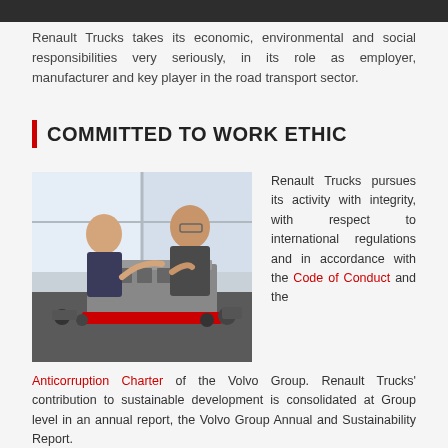Renault Trucks takes its economic, environmental and social responsibilities very seriously, in its role as employer, manufacturer and key player in the road transport sector.
COMMITTED TO WORK ETHIC
[Figure (photo): Two workers in a manufacturing setting examining engine parts on a workbench, with large industrial windows in the background.]
Renault Trucks pursues its activity with integrity, with respect to international regulations and in accordance with the Code of Conduct and the Anticorruption Charter of the Volvo Group. Renault Trucks' contribution to sustainable development is consolidated at Group level in an annual report, the Volvo Group Annual and Sustainability Report.